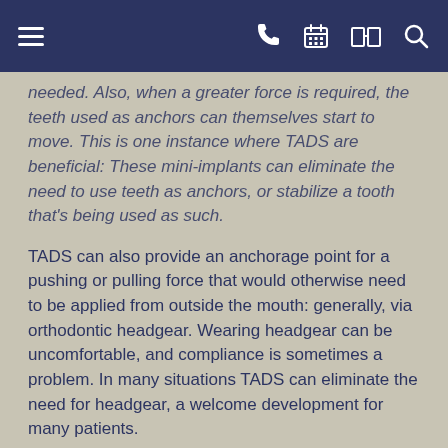[navigation bar with hamburger menu, phone, calendar, map, and search icons]
needed. Also, when a greater force is required, the teeth used as anchors can themselves start to move. This is one instance where TADS are beneficial: These mini-implants can eliminate the need to use teeth as anchors, or stabilize a tooth that's being used as such.
TADS can also provide an anchorage point for a pushing or pulling force that would otherwise need to be applied from outside the mouth: generally, via orthodontic headgear. Wearing headgear can be uncomfortable, and compliance is sometimes a problem. In many situations TADS can eliminate the need for headgear, a welcome development for many patients.
The use of TADS offers other benefits as well: It may shorten overall treatment time, eliminate the need to wear elastics (rubber bands) — and in some cases, even make certain oral surgeries unnecessary. It also allows orthodontists to take on complex cases, which might formerly have proved very difficult to treat. This small device can really do a big job!
Getting (and Maintaining) TADS